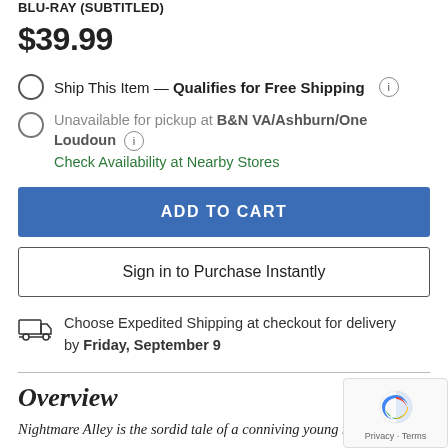BLU-RAY (SUBTITLED)
$39.99
Ship This Item — Qualifies for Free Shipping
Unavailable for pickup at B&N VA/Ashburn/One Loudoun
Check Availability at Nearby Stores
ADD TO CART
Sign in to Purchase Instantly
Choose Expedited Shipping at checkout for delivery by Friday, September 9
Overview
Nightmare Alley is the sordid tale of a conniving young man